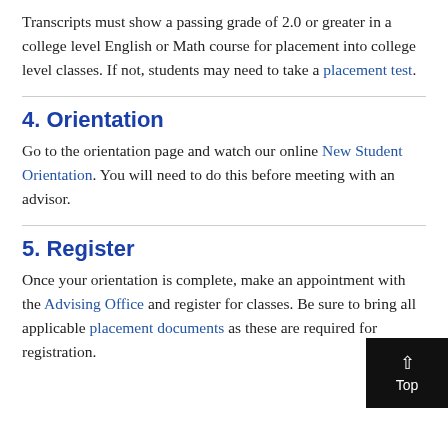Transcripts must show a passing grade of 2.0 or greater in a college level English or Math course for placement into college level classes. If not, students may need to take a placement test.
4. Orientation
Go to the orientation page and watch our online New Student Orientation. You will need to do this before meeting with an advisor.
5. Register
Once your orientation is complete, make an appointment with the Advising Office and register for classes. Be sure to bring all applicable placement documents as these are required for registration.